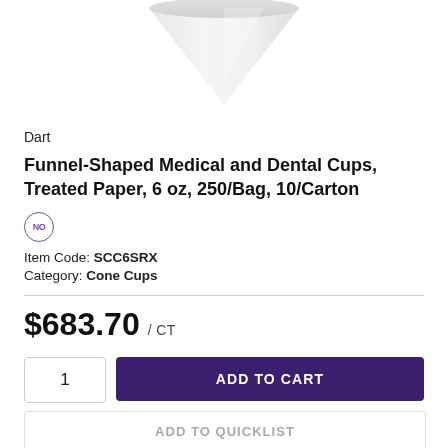[Figure (photo): Product image of a white funnel-shaped / cone-shaped paper cup, viewed from above, showing the inverted cone shape against a white background.]
Dart
Funnel-Shaped Medical and Dental Cups, Treated Paper, 6 oz, 250/Bag, 10/Carton
[Figure (logo): Small circular icon with 'NO' text inside, outlined in purple, indicating a no-symbol or certification badge.]
Item Code: SCC6SRX
Category: Cone Cups
$683.70 / CT
1
ADD TO CART
ADD TO QUICKLIST